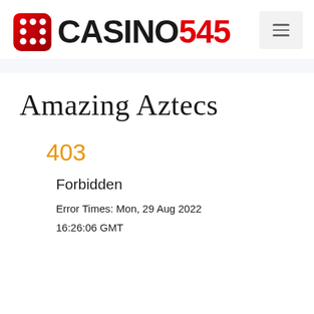[Figure (logo): Casino545 logo with red dice icon and bold text CASINO in black and 545 in red]
Amazing Aztecs
403
Forbidden
Error Times: Mon, 29 Aug 2022
16:26:06 GMT